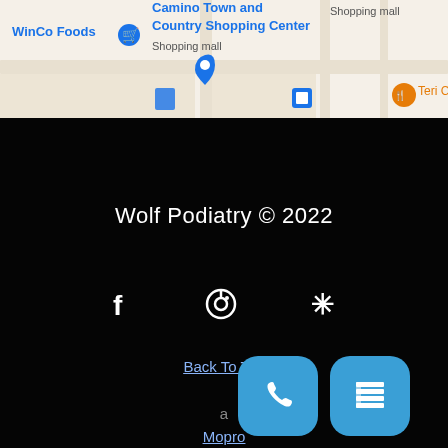[Figure (map): Google Maps screenshot showing WinCo Foods, Camino Town and Country Shopping Center (Shopping mall), Shopping mall label on right, and Teri Cafe. Blue map pins and icons visible.]
Wolf Podiatry © 2022
[Figure (other): Social media icons: Facebook (f), Pinterest (circle with P), Yelp (star-like symbol) in white on black background]
Back To Top
a Mopro website
[Figure (other): Two blue rounded square buttons at bottom right: phone icon and grid/SMS icon]